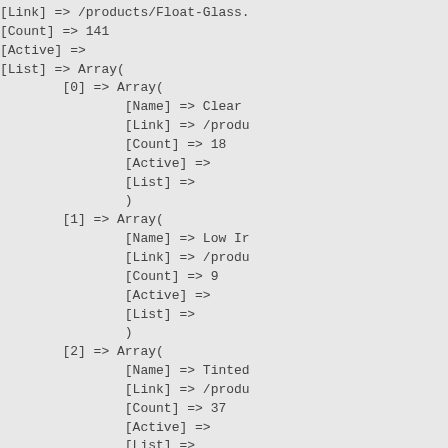[Link] => /products/Float-Glass.
[Count] => 141
[Active] =>
[List] => Array(
        [0] => Array(
                [Name] => Clear
                [Link] => /produ
                [Count] => 18
                [Active] =>
                [List] =>
                )
        [1] => Array(
                [Name] => Low Ir
                [Link] => /produ
                [Count] => 9
                [Active] =>
                [List] =>
                )
        [2] => Array(
                [Name] => Tinted
                [Link] => /produ
                [Count] => 37
                [Active] =>
                [List] =>